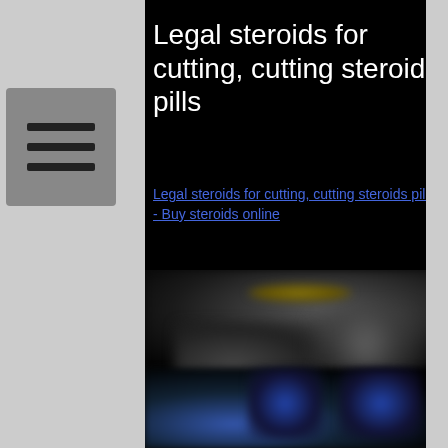[Figure (screenshot): Hamburger menu button icon (three horizontal lines) on a grey background]
Legal steroids for cutting, cutting steroids pills
Legal steroids for cutting, cutting steroids pills - Buy steroids online
[Figure (photo): Blurred dark image showing supplement products and a muscular figure on a black background]